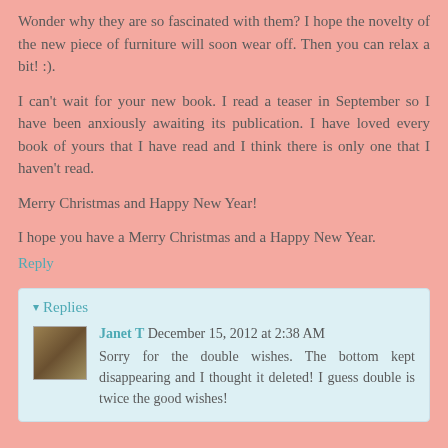Wonder why they are so fascinated with them? I hope the novelty of the new piece of furniture will soon wear off. Then you can relax a bit! :).
I can't wait for your new book. I read a teaser in September so I have been anxiously awaiting its publication. I have loved every book of yours that I have read and I think there is only one that I haven't read.
Merry Christmas and Happy New Year!
I hope you have a Merry Christmas and a Happy New Year.
Reply
▾ Replies
Janet T December 15, 2012 at 2:38 AM
Sorry for the double wishes. The bottom kept disappearing and I thought it deleted! I guess double is twice the good wishes!